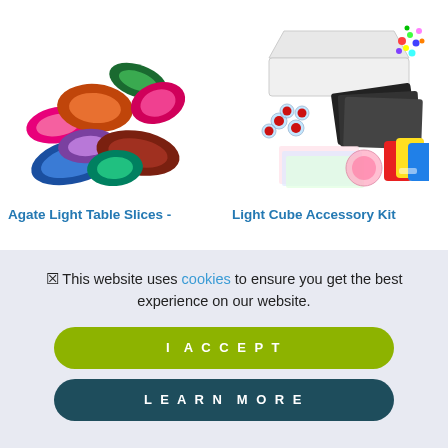[Figure (photo): Colorful agate light table slices in various colors including pink, orange, blue, purple, green, and brown arranged in a scattered display]
[Figure (photo): Light Cube Accessory Kit showing a white storage container, colorful rubber bands, black felt sheets, small clear containers with red lids, colorful transparent sheets, and colored scrapers]
Agate Light Table Slices -
Light Cube Accessory Kit
This website uses cookies to ensure you get the best experience on our website.
I ACCEPT
LEARN MORE